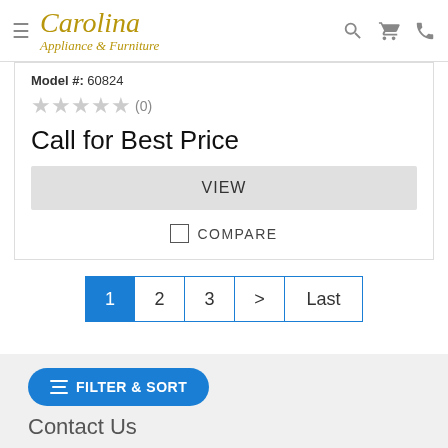[Figure (logo): Carolina Appliance & Furniture logo in gold italic serif font]
Model #: 60824
★★★★★ (0)
Call for Best Price
VIEW
☐ COMPARE
1  2  3  >  Last
FILTER & SORT
Contact Us